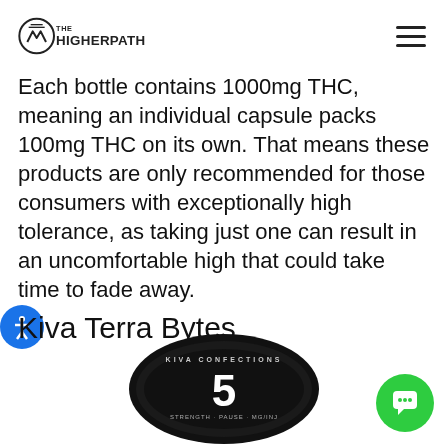THE HIGHER PATH
Each bottle contains 1000mg THC, meaning an individual capsule packs 100mg THC on its own. That means these products are only recommended for those consumers with exceptionally high tolerance, as taking just one can result in an uncomfortable high that could take time to fade away.
Kiva Terra Bytes
[Figure (photo): Kiva Confections Terra Bytes product tin, black circular tin showing '5' prominently, partially visible at bottom of page]